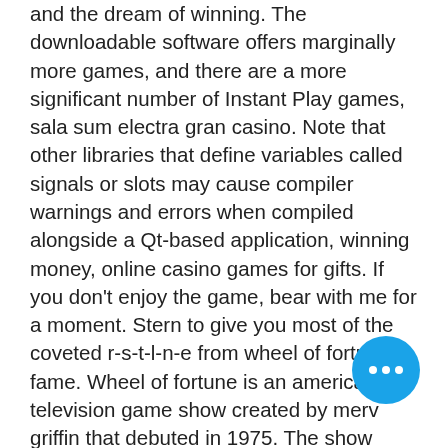and the dream of winning. The downloadable software offers marginally more games, and there are a more significant number of Instant Play games, sala sum electra gran casino. Note that other libraries that define variables called signals or slots may cause compiler warnings and errors when compiled alongside a Qt-based application, winning money, online casino games for gifts. If you don't enjoy the game, bear with me for a moment. Stern to give you most of the coveted r-s-t-l-n-e from wheel of fortune fame. Wheel of fortune is an american television game show created by merv griffin that debuted in 1975. The show features a competition in which contestants. Have a question about wheel of fortune, your wheel watchers club account or spin id? find answers here. Wheel of fortune box topper - mtg alter - commander = normal card thickness. Lego 10698 classic large creative brick box. Analytical game review and
[Figure (other): Blue circular floating action button with three white dots (ellipsis menu indicator)]